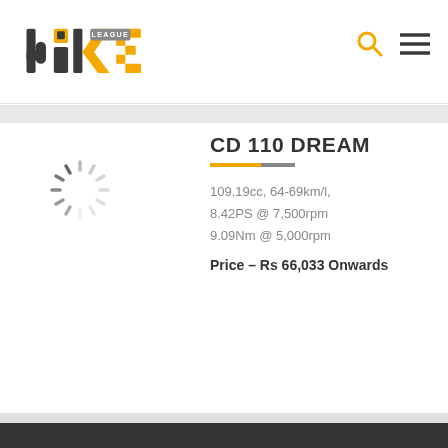[Figure (logo): Bike League logo with stylized 'bike' text in dark and yellow, with 'LEAGUE' text above]
[Figure (illustration): Loading spinner icon (circular dashed wheel)]
CD 110 DREAM
109.19cc, 64-69km/l, 8.42PS @ 7,500rpm 9.09Nm @ 5,000rpm
Price – Rs 66,033 Onwards